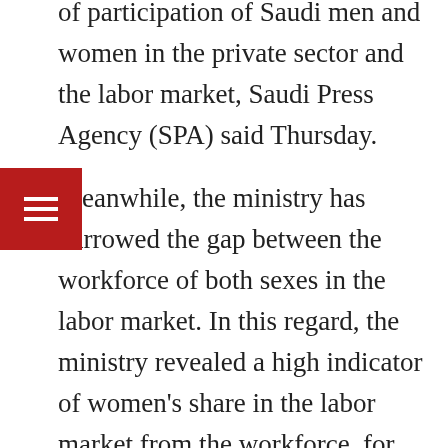of participation of Saudi men and women in the private sector and the labor market, Saudi Press Agency (SPA) said Thursday.
Meanwhile, the ministry has narrowed the gap between the workforce of both sexes in the labor market. In this regard, the ministry revealed a high indicator of women's share in the labor market from the workforce, for Q1 2020.
The target in this quarter was 24 percent, while the index for increasing women's economic participation in the labor market achieved an increase to reach 27.5 percent.
This is with the objective of achieving the goals of the National Transformation Program 2020 (NTP 2020) and the Kingdom's Vision 2020